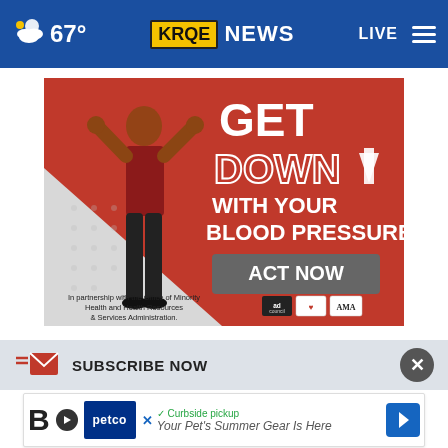67° KRQE NEWS | LIVE
[Figure (infographic): Advertisement: GET DOWN WITH YOUR BLOOD PRESSURE - ACT NOW. In partnership with the Office of Minority Health and Health Resources & Services Administration. Logos: adcouncil, American Heart Association, AMA.]
SUBSCRIBE NOW
[Figure (infographic): Petco advertisement: Curbside pickup. Your Pet's Summer Gear Is Here]